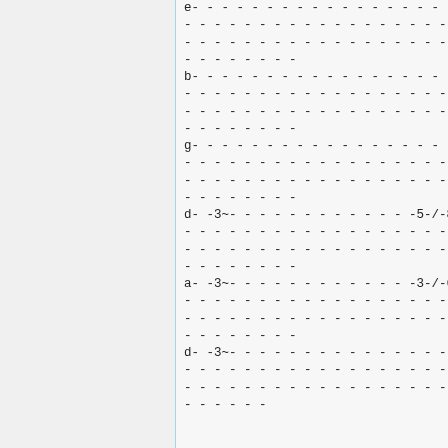[Figure (other): Guitar tablature notation showing multiple strings (e, b, g, d, a, d) with dashed lines and fret numbers including 5/8 and 3/6 patterns]
e - - - - - - - - - - - - - - - - - - - - - - - - -
- - - - - - - - - - - - - - - - - - - - - - - - - -
- - - - - - - - - - - - - - - - - - - - - - - - - -
- - - - - - -
b - - - - - - - - - - - - - - - - - - - - - - - - -
- - - - - - - - - - - - - - - - - - - - - - - - - -
- - - - - - - - - - - - - - - - - - - - - - - - - -
- - - - - - -
g - - - - - - - - - - - - - - - - - - - 5 - / - 8 - -
- - - - - - - - - - - - - - - - - - - - - - - - - -
- - - - - - - - - - - - - - - - - - - - - - - - - -
- - - - - - -
d - - 3 ~ - - - - - - - - - - - - - 5 - / - 8 - -
- - - - - - - - - - - - - - - - - - - - - - - - - -
- - - - - - - - - - - - - - - - - - - - - - - - - -
- - - - - - -
a - - 3 ~ - - - - - - - - - - - - - 3 - / - 6 - -
- - - - - - - - - - - - - - - - - - - - - - - - - -
- - - - - - - - - - - - - - - - - - - - - - - - - -
- - - - - - -
d - - 3 ~ - - - - - - - - - - - - - - - - - - - -
- - - - - - - - - - - - - - - - - - - - - - - - - -
- - - - - - - - - - - - - - - - - - - - - - - - - -
- - - - - -